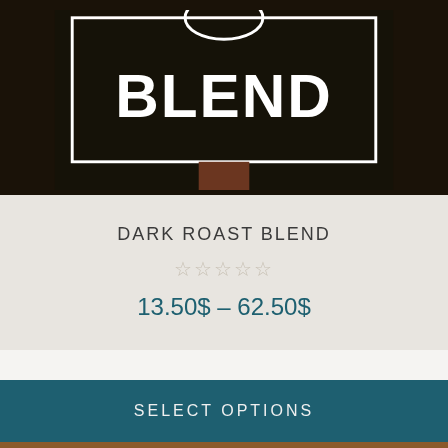[Figure (illustration): Dark product image showing a coffee bag or sign with the word BLEND in large white bold letters on a dark/black background, with a brown stem or handle at the bottom center, framed by a white rectangular border outline]
DARK ROAST BLEND
☆☆☆☆☆
13.50$ – 62.50$
SELECT OPTIONS